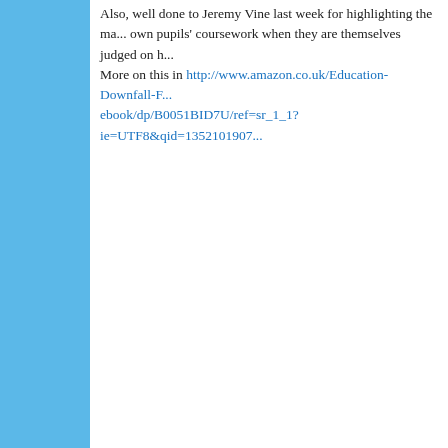Also, well done to Jeremy Vine last week for highlighting the matter of teachers marking their own pupils' coursework when they are themselves judged on how well their pupils do. More on this in http://www.amazon.co.uk/Education-Downfall-F... ebook/dp/B0051BID7U/ref=sr_1_1?ie=UTF8&qid=1352101907...
Posted by Mr Chalk at 7:53 AM    5 comments:
MONDAY, OCTOBER 22, 2012
Question Time
One question that I know the answer to and a couple that I don't
1) Why do adverts for watches always show the same time- ten